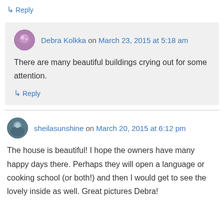↳ Reply
Debra Kolkka on March 23, 2015 at 5:18 am
There are many beautiful buildings crying out for some attention.
↳ Reply
sheilasunshine on March 20, 2015 at 6:12 pm
The house is beautiful! I hope the owners have many happy days there. Perhaps they will open a language or cooking school (or both!) and then I would get to see the lovely inside as well. Great pictures Debra!